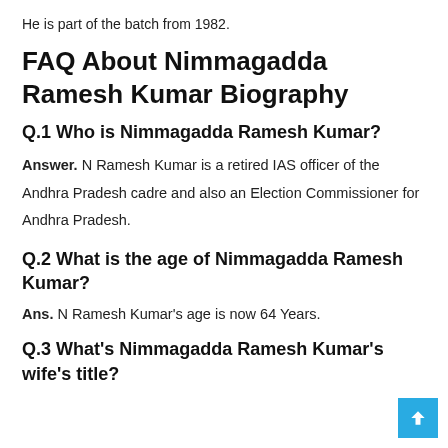He is part of the batch from 1982.
FAQ About Nimmagadda Ramesh Kumar Biography
Q.1 Who is Nimmagadda Ramesh Kumar?
Answer. N Ramesh Kumar is a retired IAS officer of the Andhra Pradesh cadre and also an Election Commissioner for Andhra Pradesh.
Q.2 What is the age of Nimmagadda Ramesh Kumar?
Ans. N Ramesh Kumar's age is now 64 Years.
Q.3 What's Nimmagadda Ramesh Kumar's wife's title?